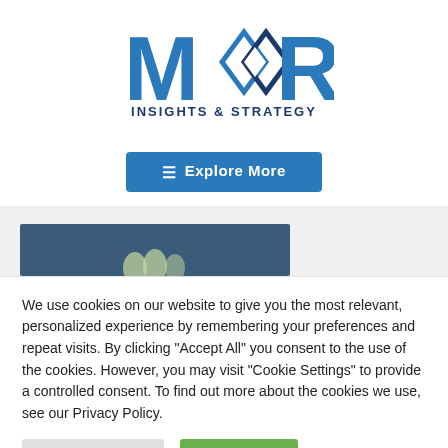[Figure (logo): Moor Insights & Strategy logo with stylized M and diamond-chain graphic in blue and dark blue, with text INSIGHTS & STRATEGY below]
≡  Explore More
[Figure (screenshot): Partial article preview card with dark blue-grey background and bunny ear shapes visible at bottom]
We use cookies on our website to give you the most relevant, personalized experience by remembering your preferences and repeat visits. By clicking "Accept All" you consent to the use of the cookies. However, you may visit "Cookie Settings" to provide a controlled consent. To find out more about the cookies we use, see our Privacy Policy.
Cookie Settings
Accept All